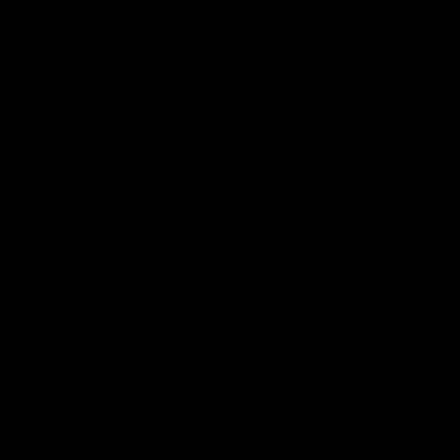elderly nosy neighbor with binoculars and my email address.

It was one of those courier runs soon after I arrived when I met Him. I delivered to the set a few times a week, so I knew my way around. I had a package from the producer